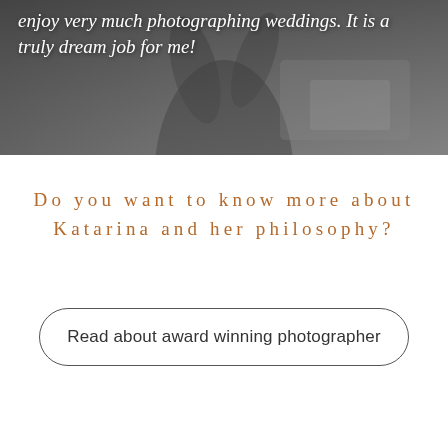[Figure (photo): Black and white photograph of a woman in a light dress, partially visible, with a blurred outdoor background. White italic text overlaid reads: 'enjoy very much photographing weddings. It is a truly dream job for me!']
enjoy very much photographing weddings. It is a truly dream job for me!
Do you want to know more about Katarina and her philosophy?
Read about award winning photographer